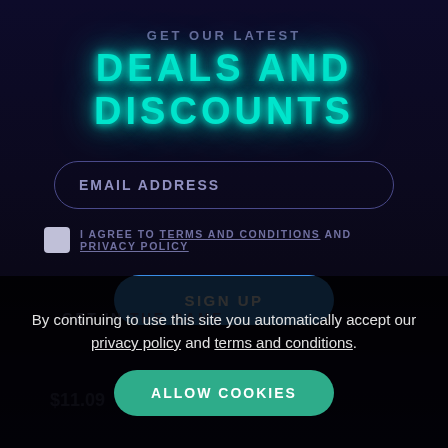GET OUR LATEST
DEALS AND DISCOUNTS
EMAIL ADDRESS
I AGREE TO TERMS AND CONDITIONS AND PRIVACY POLICY
SIGN UP
GET IN THE GAME
By continuing to use this site you automatically accept our privacy policy and terms and conditions.
ALLOW COOKIES
$11.09